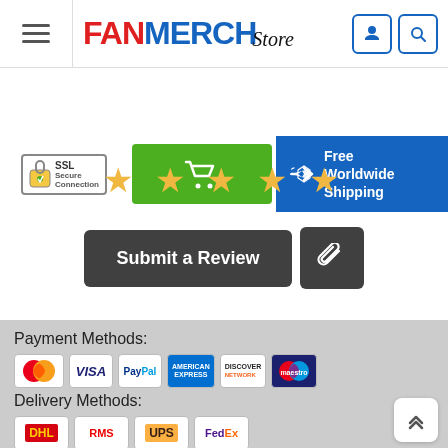[Figure (logo): FanMerch Store logo with hamburger menu, user and search icons]
[Figure (infographic): SSL Secure Connection badge, green cart button, Free Worldwide Shipping blue banner]
[Figure (infographic): Five gold star rating row]
[Figure (infographic): Submit a Review dark button and paperclip attachment button]
Payment Methods:
[Figure (infographic): Payment method logos: MasterCard, VISA, PayPal, American Express, Discover, Maestro]
Delivery Methods:
[Figure (infographic): Delivery method logos: DHL, RMS, UPS, FedEx]